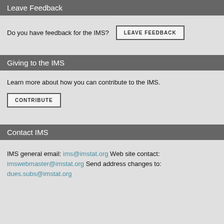Leave Feedback
Do you have feedback for the IMS?
LEAVE FEEDBACK
Giving to the IMS
Learn more about how you can contribute to the IMS.
CONTRIBUTE
Contact IMS
IMS general email: ims@imstat.org Web site contact: imswebmaster@imstat.org Send address changes to: dues.subs@imstat.org